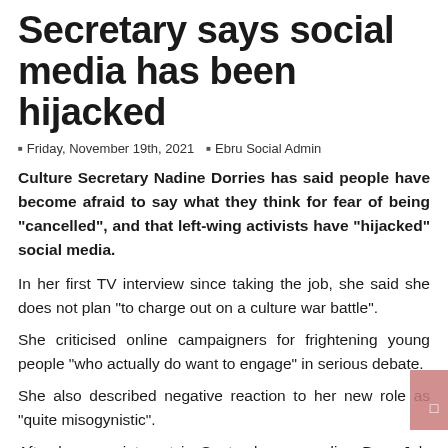Secretary says social media has been hijacked
Friday, November 19th, 2021 | Ebru Social Admin
Culture Secretary Nadine Dorries has said people have become afraid to say what they think for fear of being "cancelled", and that left-wing activists have "hijacked" social media.
In her first TV interview since taking the job, she said she does not plan "to charge out on a culture war battle".
She criticised online campaigners for frightening young people "who actually do want to engage" in serious debate.
She also described negative reaction to her new role as "quite misogynistic".
After her appointment in September, comedian Dom Joly said it was "like the result of some drunk bet" while